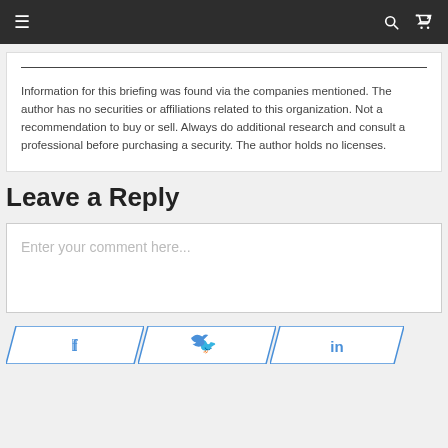≡  🔍  ⇌
Information for this briefing was found via the companies mentioned. The author has no securities or affiliations related to this organization. Not a recommendation to buy or sell. Always do additional research and consult a professional before purchasing a security. The author holds no licenses.
Leave a Reply
Enter your comment here...